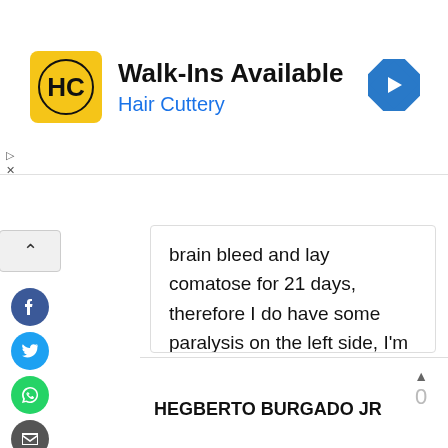[Figure (logo): Hair Cuttery advertisement banner with HC logo, text 'Walk-Ins Available' and 'Hair Cuttery', and a blue navigation arrow icon]
brain bleed and lay comatose for 21 days, therefore I do have some paralysis on the left side, I'm able to walk with a cane and a rollator, I'm still going to therapy, and pray. I know I shouldv'e listened to a gentleman at an open call in Orlando in 1993, but you can't go back can you?
8 years ago
HEGBERTO BURGADO JR